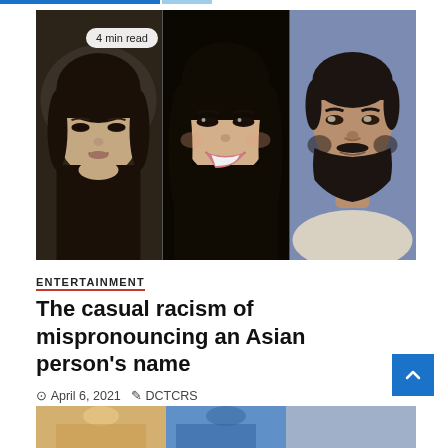[Figure (photo): Three portrait photos side by side: a woman with straight black hair and serious expression, a smiling woman with long black hair and makeup, and a man with a beard. A '4 min read' badge overlays the top-left corner.]
ENTERTAINMENT
The casual racism of mispronouncing an Asian person's name
April 6, 2021   DCTCRS
[Figure (photo): Partial bottom strip showing another image, partially visible at the bottom of the page.]